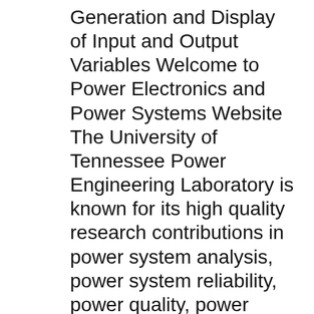Generation and Display of Input and Output Variables Welcome to Power Electronics and Power Systems Website The University of Tennessee Power Engineering Laboratory is known for its high quality research contributions in power system analysis, power system reliability, power quality, power electronic converters, control of motor drives, and silicon carbide based power electronic systems.
AC 2011-1479: AN ACTIVE POWER FACTOR CORRECTION LABORA-TORY EXPERIMENT FOR POWER ELECTRONICS COURSE Dale S.L. Dolan, California Polytechnic State University Dale S.L. Dolan is an Assistant Professor of